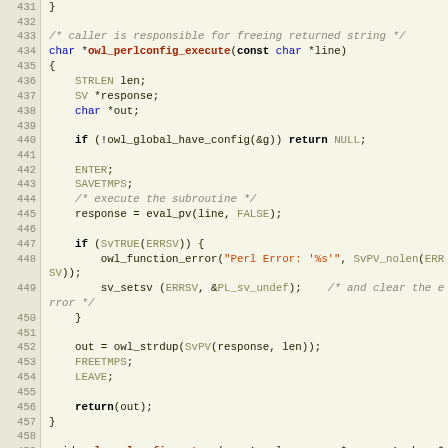[Figure (screenshot): Source code listing in C, lines 431-460, showing owl_perlconfig_execute and owl_perlconfig_getmsg functions with syntax highlighting. Line numbers in left gutter on beige background.]